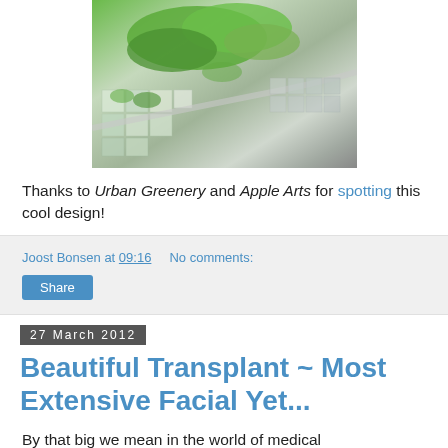[Figure (photo): Aerial rendering of a futuristic urban building with terraced green rooftop gardens and vegetation, modular white cube structures, surrounded by city streets]
Thanks to Urban Greenery and Apple Arts for spotting this cool design!
Joost Bonsen at 09:16   No comments:
Share
27 March 2012
Beautiful Transplant ~ Most Extensive Facial Yet...
By that big we mean in the world of medical transplantation